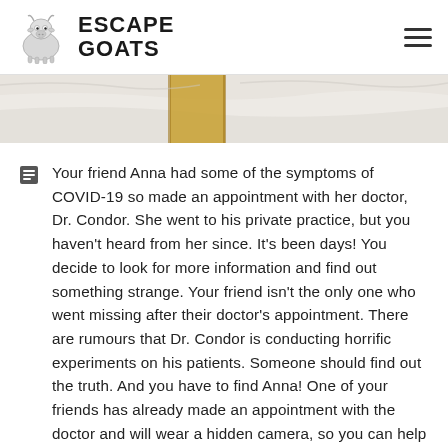ESCAPE GOATS
[Figure (photo): Partial photo of white fabric/bedding with a gold/yellow stripe or belt across it]
Your friend Anna had some of the symptoms of COVID-19 so made an appointment with her doctor, Dr. Condor. She went to his private practice, but you haven't heard from her since. It's been days! You decide to look for more information and find out something strange. Your friend isn't the only one who went missing after their doctor's appointment. There are rumours that Dr. Condor is conducting horrific experiments on his patients. Someone should find out the truth. And you have to find Anna! One of your friends has already made an appointment with the doctor and will wear a hidden camera, so you can help